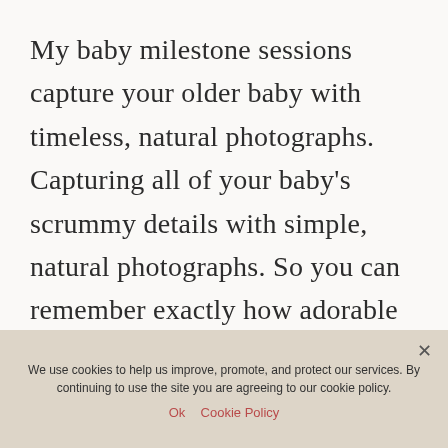My baby milestone sessions capture your older baby with timeless, natural photographs. Capturing all of your baby's scrummy details with simple, natural photographs. So you can remember exactly how adorable they were at this age.
We use cookies to help us improve, promote, and protect our services. By continuing to use the site you are agreeing to our cookie policy.
Ok   Cookie Policy